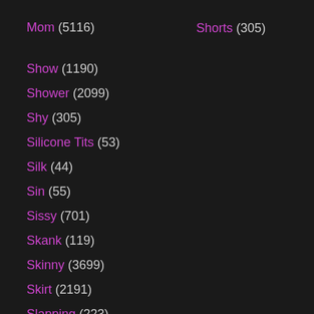Mom (5116)
Shorts (305)
Show (1190)
Shower (2099)
Shy (305)
Silicone Tits (53)
Silk (44)
Sin (55)
Sissy (701)
Skank (119)
Skinny (3699)
Skirt (2191)
Slapping (223)
Slave (2458)
Slim (1034)
Sloppy (644)